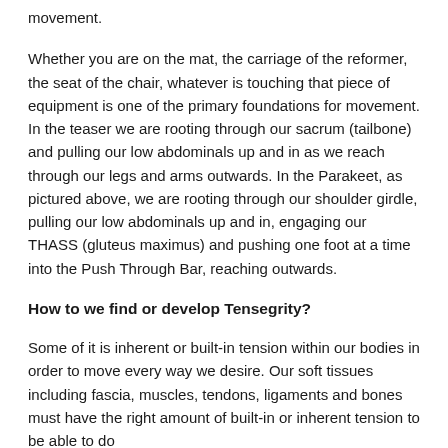movement.
Whether you are on the mat, the carriage of the reformer, the seat of the chair, whatever is touching that piece of equipment is one of the primary foundations for movement. In the teaser we are rooting through our sacrum (tailbone) and pulling our low abdominals up and in as we reach through our legs and arms outwards. In the Parakeet, as pictured above, we are rooting through our shoulder girdle, pulling our low abdominals up and in, engaging our THASS (gluteus maximus) and pushing one foot at a time into the Push Through Bar, reaching outwards.
How to we find or develop Tensegrity?
Some of it is inherent or built-in tension within our bodies in order to move every way we desire. Our soft tissues including fascia, muscles, tendons, ligaments and bones must have the right amount of built-in or inherent tension to be able to do